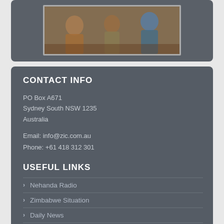[Figure (photo): A photograph showing people seated, partially visible at the top of the page]
CONTACT INFO
PO Box A671
Sydney South NSW 1235
Australia
Email: info@zic.com.au
Phone: +61 418 312 301
USEFUL LINKS
Nehanda Radio
Zimbabwe Situation
Daily News
Zimbabwe Independent
Financial Gazette